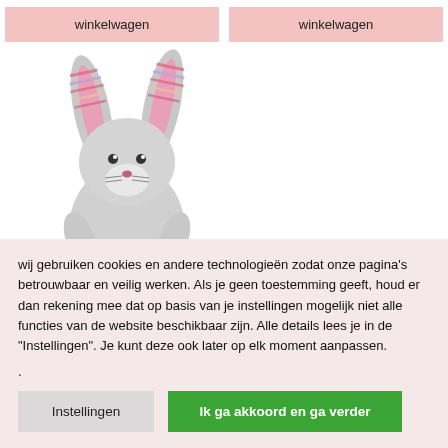winkelwagen
winkelwagen
[Figure (photo): Gray plush bunny toy with striped pink and white ears, sitting position, ribbed pink legs and arms]
wij gebruiken cookies en andere technologieën zodat onze pagina's betrouwbaar en veilig werken. Als je geen toestemming geeft, houd er dan rekening mee dat op basis van je instellingen mogelijk niet alle functies van de website beschikbaar zijn. Alle details lees je in de "Instellingen". Je kunt deze ook later op elk moment aanpassen.
.
Instellingen
Ik ga akkoord en ga verder